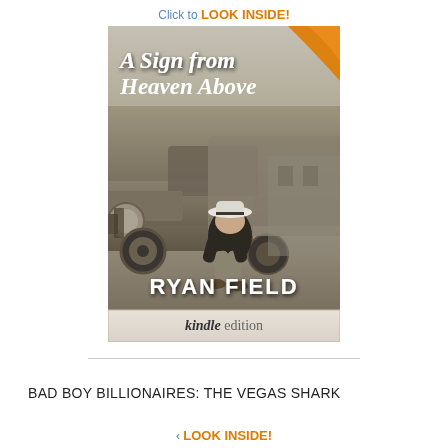Click to LOOK INSIDE!
[Figure (illustration): Book cover for 'A Sign from Heaven Above' by Ryan Field. Shows a man in a white hat sitting hunched over in front of an old vintage car, in a sepia/dark toned photograph. Title text in white italic script at top, author name in large white bold sans-serif at bottom. Kindle edition badge at bottom.]
BAD BOY BILLIONAIRES: THE VEGAS SHARK
Click to LOOK INSIDE!